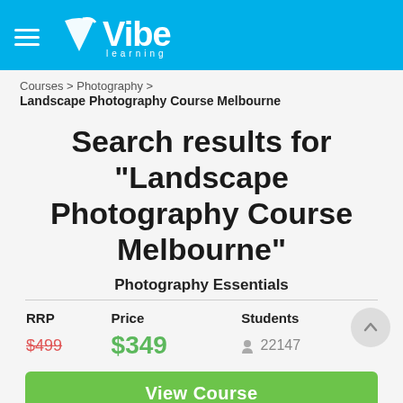[Figure (logo): Vibe Learning logo with hamburger menu icon on cyan/blue header background]
Courses > Photography >
Landscape Photography Course Melbourne
Search results for "Landscape Photography Course Melbourne"
Photography Essentials
| RRP | Price | Students |
| --- | --- | --- |
| $499 | $349 | 22147 |
View Course
[Figure (photo): Partial photo of film strip and camera equipment at the bottom of the page]